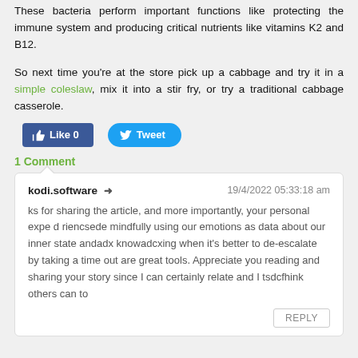These bacteria perform important functions like protecting the immune system and producing critical nutrients like vitamins K2 and B12.
So next time you're at the store pick up a cabbage and try it in a simple coleslaw, mix it into a stir fry, or try a traditional cabbage casserole.
[Figure (other): Social sharing buttons: Facebook Like 0 button and Twitter Tweet button]
1 Comment
kodi.software ➜  19/4/2022 05:33:18 am

ks for sharing the article, and more importantly, your personal expe d riencsede mindfully using our emotions as data about our inner state andadx knowadcxing when it's better to de-escalate by taking a time out are great tools. Appreciate you reading and sharing your story since I can certainly relate and I tsdcfhink others can to